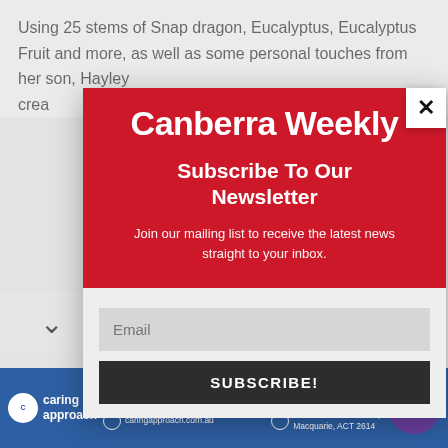Using 25 stems of Snap dragon, Eucalyptus, Eucalyptus Fruit and more, as well as some personal touches from her son, Hayley crea...
[Figure (screenshot): Newsletter subscription modal popup for Canberra Weekly. Red header section with 'Canberra Weekly' logo, 'Subscribe To Our Newsletter' heading, and description text 'Join our mailing list to receive the latest news straight to your inbox.' White/grey bottom section with Email input field and SUBSCRIBE! button. Close (x) button in top right corner.]
[Figure (infographic): Bottom advertisement banner for 'caring approach'. Blue background with logo, phone numbers (02 6253 1017, 02 6253 1357), email (info@caringapproach.com.au), website (caringapproach.com.au), address (42-31 Wiseman Street, Macquarie, ACT 2614), and purple NDIS circle logo with 'I love ndis'.]